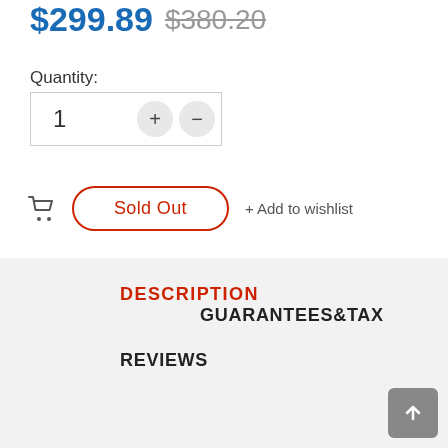$299.89  $380.20
Quantity:
1
Sold Out
+ Add to wishlist
DESCRIPTION
GUARANTEES&TAX
REVIEWS